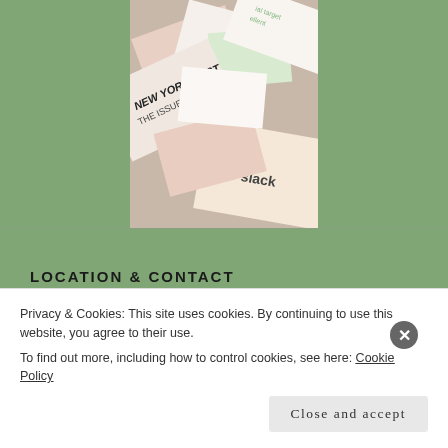[Figure (illustration): A collage of overlapping papers, magazines, and documents including the New York Post and Slack branding, on a green background]
LOCATION & CONTACT
[Figure (map): Google Maps embed showing Redwood Heights Recreation area with East Bay Innovation Academy labeled. A popup shows 'Redwood Heights Recreati...' with a 'View larger map' link.]
Privacy & Cookies: This site uses cookies. By continuing to use this website, you agree to their use.
To find out more, including how to control cookies, see here: Cookie Policy
Close and accept